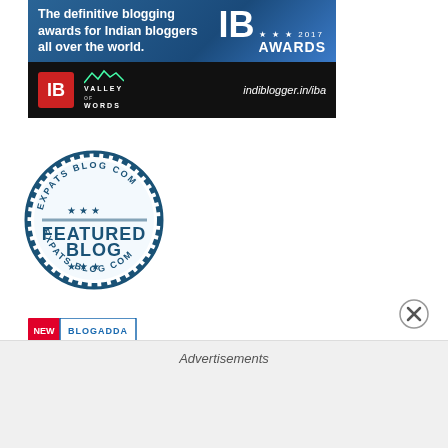[Figure (logo): IB Awards 2017 banner for Indian bloggers - indiblogger.in/iba with Valley of Words logo]
[Figure (logo): Expats Blog.com Featured Blog circular stamp/seal badge]
[Figure (logo): BlogAdda NEW badge/logo]
[Figure (illustration): Partial gold arc/ribbon at bottom of content area]
[Figure (other): Close/dismiss button (X in circle) for advertisement overlay]
Advertisements